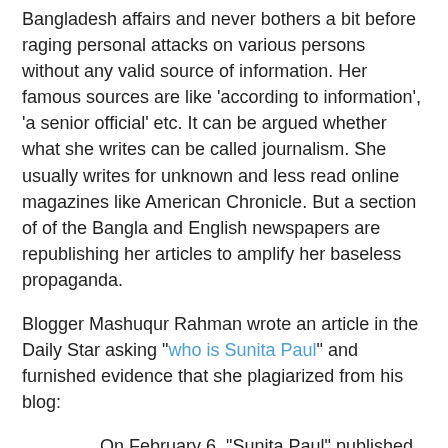Bangladesh affairs and never bothers a bit before raging personal attacks on various persons without any valid source of information. Her famous sources are like 'according to information', 'a senior official' etc. It can be argued whether what she writes can be called journalism. She usually writes for unknown and less read online magazines like American Chronicle. But a section of of the Bangla and English newspapers are republishing her articles to amplify her baseless propaganda.
Blogger Mashuqur Rahman wrote an article in the Daily Star asking "who is Sunita Paul" and furnished evidence that she plagiarized from his blog:
On February 6, "Sunita Paul" published an article in the online publication American Chronicle with the breathless headline "Ruling party getting set to try Bangladesh Generals." Now, if the claim in the article's headline were true, this would be big news.
However, the article was thin on backing up the